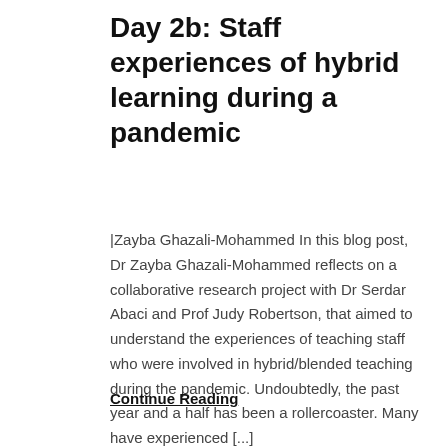Day 2b: Staff experiences of hybrid learning during a pandemic
|Zayba Ghazali-Mohammed In this blog post, Dr Zayba Ghazali-Mohammed reflects on a collaborative research project with Dr Serdar Abaci and Prof Judy Robertson, that aimed to understand the experiences of teaching staff who were involved in hybrid/blended teaching during the pandemic. Undoubtedly, the past year and a half has been a rollercoaster. Many have experienced [...]
Continue Reading